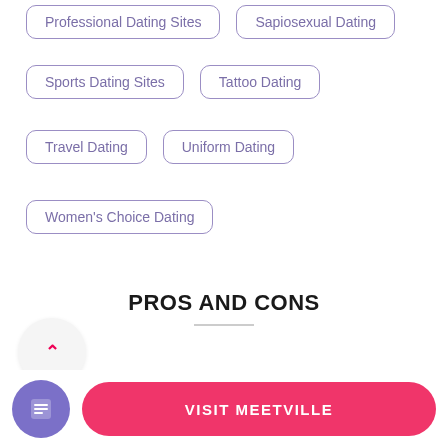Professional Dating Sites
Sapiosexual Dating
Sports Dating Sites
Tattoo Dating
Travel Dating
Uniform Dating
Women's Choice Dating
PROS AND CONS
14%
PROS
VISIT MEETVILLE